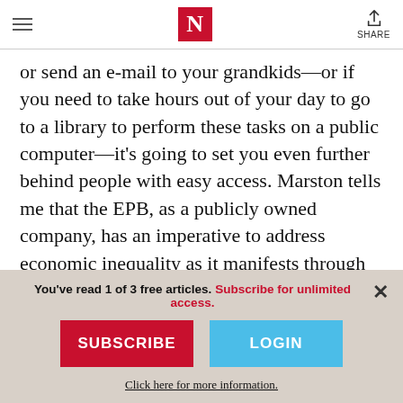The Nation — navigation header with hamburger menu, N logo, and Share button
or send an e-mail to your grandkids—or if you need to take hours out of your day to go to a library to perform these tasks on a public computer—it's going to set you even further behind people with easy access. Marston tells me that the EPB, as a publicly owned company, has an imperative to address economic inequality as it manifests through
You've read 1 of 3 free articles. Subscribe for unlimited access.
SUBSCRIBE
LOGIN
Click here for more information.